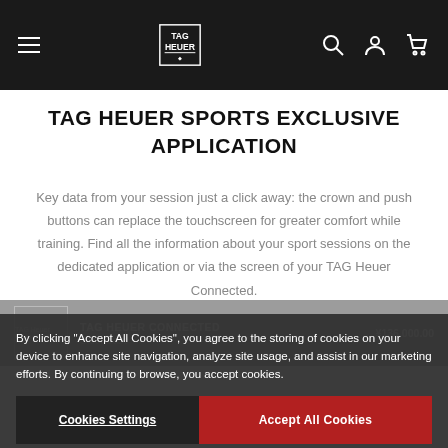TAG Heuer navigation bar with hamburger menu, logo, search, account, and cart icons
TAG HEUER SPORTS EXCLUSIVE APPLICATION
Key data from your session just a click away: the crown and push buttons can replace the touchscreen for greater comfort while training. Find all the information about your sport sessions on the dedicated application or via the screen of your TAG Heuer Connected.
[Figure (screenshot): TAG Heuer Connected product thumbnail image placeholder]
TAG HEUER CONNECTED
Steel Case
¥136.000.00
By clicking "Accept All Cookies", you agree to the storing of cookies on your device to enhance site navigation, analyze site usage, and assist in our marketing efforts. By continuing to browse, you accept cookies.
Cookies Settings
Accept All Cookies